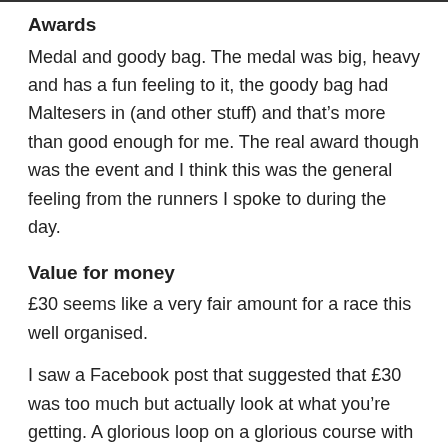Awards
Medal and goody bag. The medal was big, heavy and has a fun feeling to it, the goody bag had Maltesers in (and other stuff) and that’s more than good enough for me. The real award though was the event and I think this was the general feeling from the runners I spoke to during the day.
Value for money
£30 seems like a very fair amount for a race this well organised.
I saw a Facebook post that suggested that £30 was too much but actually look at what you’re getting. A glorious loop on a glorious course with a big bespoke medal, an incredibly well stocked aid station/checkpoint and a really good atmosphere all supported by a wonderful team of